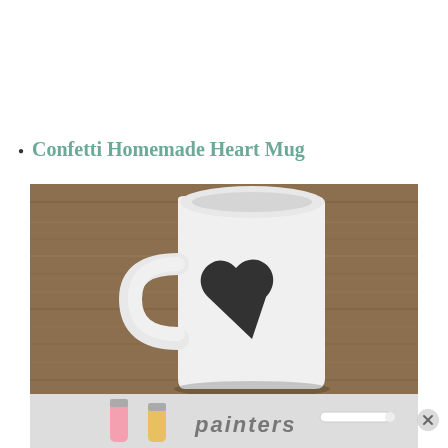Confetti Homemade Heart Mug
[Figure (photo): A white ceramic mug with a black heart painted on it, sitting on a wooden surface. Below the mug photo is a partial view of paint tubes and a 'painters' brand product.]